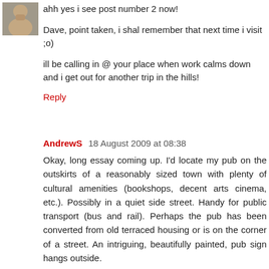[Figure (photo): Small avatar/profile photo of a person in the top left corner]
ahh yes i see post number 2 now!
Dave, point taken, i shal remember that next time i visit ;o)
ill be calling in @ your place when work calms down and i get out for another trip in the hills!
Reply
AndrewS 18 August 2009 at 08:38
Okay, long essay coming up. I'd locate my pub on the outskirts of a reasonably sized town with plenty of cultural amenities (bookshops, decent arts cinema, etc.). Possibly in a quiet side street. Handy for public transport (bus and rail). Perhaps the pub has been converted from old terraced housing or is on the corner of a street. An intriguing, beautifully painted, pub sign hangs outside.
Definitely agree with wooden flooring, slightly worn and characterful. Two bars, one with traditional pub benches and tables, one with (yes) comfy